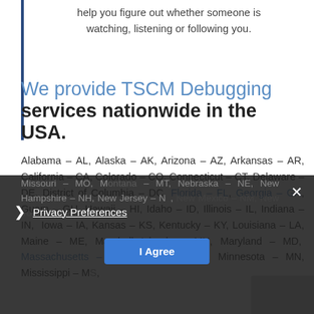help you figure out whether someone is watching, listening or following you.
We provide TSCM Debugging services nationwide in the USA.
Alabama – AL, Alaska – AK, Arizona – AZ, Arkansas – AR, California – CA, Colorado – CO, Connecticut – CT, Delaware – DE, District of Columbia – DC, Florida – FL, Georgia – GA, Guam – GU, Hawaii – HI, Idaho – ID, Illinois – IL, Indiana – IN, Iowa – IA, Kansas – KS, Kentucky – KY, Louisiana – LA, Maine – ME, Marshall Islands – MH, Maryland – MD, Massachusetts – MA, Michigan – MI, Minnesota – MN, Mississippi – MS, Missouri – MO, Montana – MT, Nebraska – NE, New Hampshire – NH, New Jersey – NJ, New Mexico – NM, New York – NY, North Carolina – NC, North Dakota – ND, Ohio – OH, Oklahoma –
Privacy Preferences | I Agree